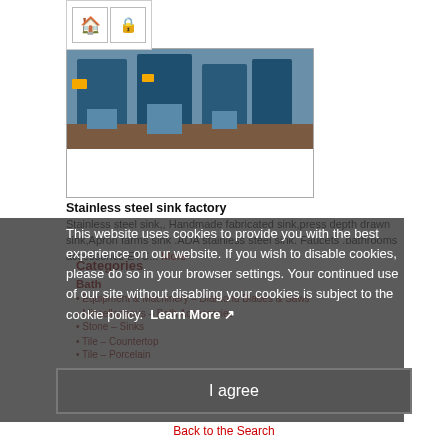[Figure (screenshot): Browser navigation bar with home icon and lock icon]
[Figure (photo): Photo of industrial blue stainless steel sink manufacturing machines in a factory]
Stainless steel sink factory
Stainless steel sink,, Handmade fabricated sink,press depth drawn sink,Apron farms sink .ADA stainless steel sink. Faucets .bathrooms accessories ETC... More
This website uses cookies to provide you with the best experience on our website. If you wish to disable cookies, please do so in your browser settings. Your continued use of our site without disabling your cookies is subject to the cookie policy. Learn More
Categories
Bath
Equipment & Machinery – Diamond Blades & Saws
Miscellaneous – Bath Accessories
Stone – Sinks
Tile – Countertop
Tile – Porcelain
I agree
Back to the Search